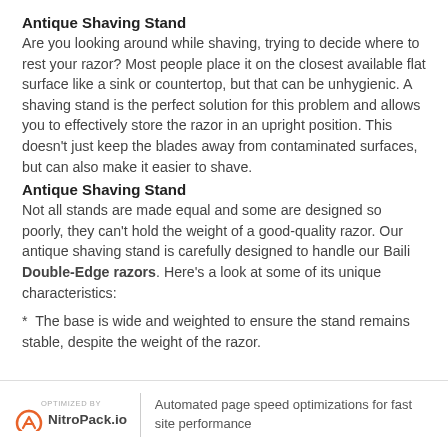Antique Shaving Stand
Are you looking around while shaving, trying to decide where to rest your razor? Most people place it on the closest available flat surface like a sink or countertop, but that can be unhygienic. A shaving stand is the perfect solution for this problem and allows you to effectively store the razor in an upright position. This doesn't just keep the blades away from contaminated surfaces, but can also make it easier to shave.
Antique Shaving Stand
Not all stands are made equal and some are designed so poorly, they can't hold the weight of a good-quality razor. Our antique shaving stand is carefully designed to handle our Baili Double-Edge razors. Here's a look at some of its unique characteristics:
*  The base is wide and weighted to ensure the stand remains stable, despite the weight of the razor.
OPTIMIZED BY NitroPack.io | Automated page speed optimizations for fast site performance